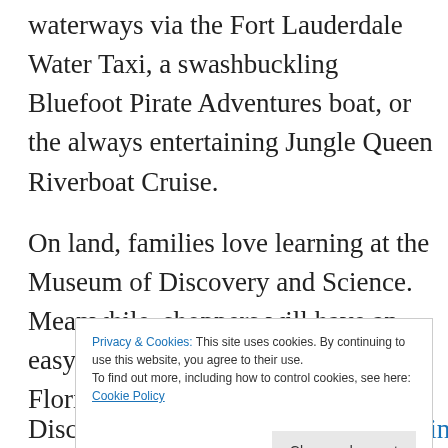waterways via the Fort Lauderdale Water Taxi, a swashbuckling Bluefoot Pirate Adventures boat, or the always entertaining Jungle Queen Riverboat Cruise.
On land, families love learning at the Museum of Discovery and Science. Meanwhile, shoppers will have an easy time finding souvenirs of their Florida family vacation a... th... B...
Privacy & Cookies: This site uses cookies. By continuing to use this website, you agree to their use. To find out more, including how to control cookies, see here: Cookie Policy
Discover even more fun things to do in Fort...